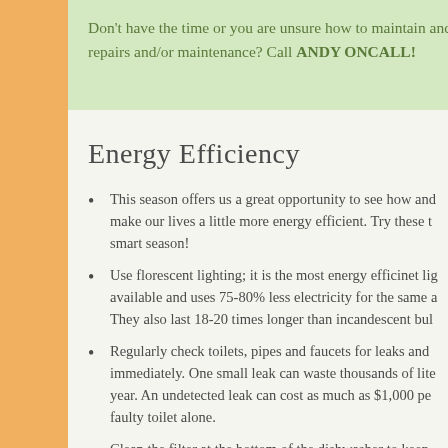Don't have the time or you are unsure how to maintain and perform repairs and/or maintenance? Call ANDY ONCALL!
Energy Efficiency
This season offers us a great opportunity to see how and make our lives a little more energy efficient. Try these tips for a smart season!
Use florescent lighting; it is the most energy efficinet lighting available and uses 75-80% less electricity for the same amount. They also last 18-20 times longer than incandescent bulbs.
Regularly check toilets, pipes and faucets for leaks and fix them immediately. One small leak can waste thousands of liters per year. An undetected leak can cost as much as $1,000 per year for a faulty toilet alone.
Clean the filter at the bottom of the dishwasher to keep it running efficiently.